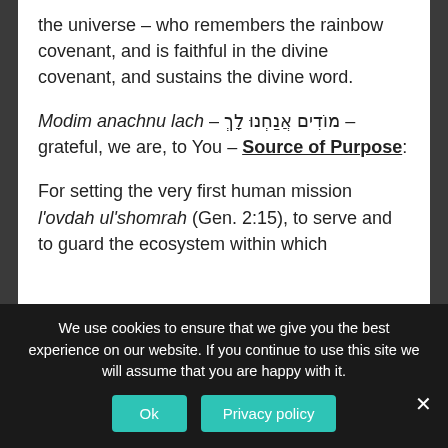the universe – who remembers the rainbow covenant, and is faithful in the divine covenant, and sustains the divine word.
Modim anachnu lach – מוֹדִים אֲנַחְנוּ לָךְ – grateful, we are, to You – Source of Purpose:
For setting the very first human mission l'ovdah ul'shomrah (Gen. 2:15), to serve and to guard the ecosystem within which
We use cookies to ensure that we give you the best experience on our website. If you continue to use this site we will assume that you are happy with it.